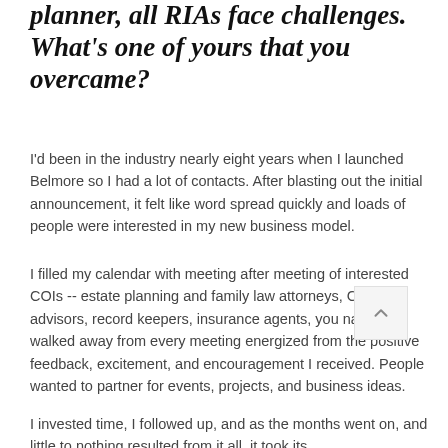planner, all RIAs face challenges. What's one of yours that you overcame?
I'd been in the industry nearly eight years when I launched Belmore so I had a lot of contacts. After blasting out the initial announcement, it felt like word spread quickly and loads of people were interested in my new business model.
I filled my calendar with meeting after meeting of interested COIs -- estate planning and family law attorneys, CPAs, advisors, record keepers, insurance agents, you name it. I walked away from every meeting energized from the positive feedback, excitement, and encouragement I received. People wanted to partner for events, projects, and business ideas.
I invested time, I followed up, and as the months went on, and little to nothing resulted from it all, it took its...